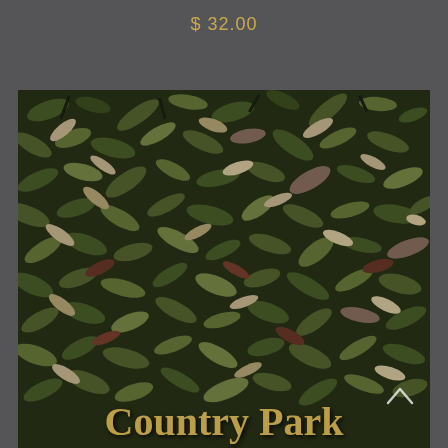$ 32.00
[Figure (photo): Close-up photograph of dried herb leaves (green and brown mixed), with 'Country Park' text overlaid in gold at the bottom of the image. A small upward chevron arrow is visible on the right side near the bottom.]